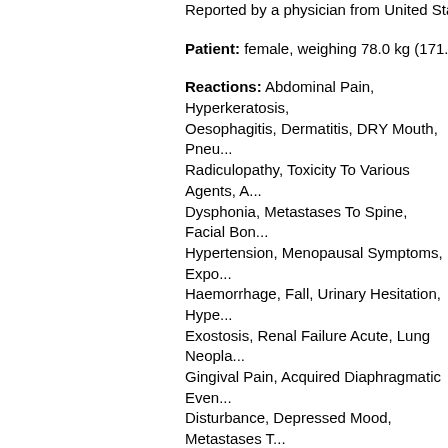Reported by a physician from United States...
Patient: female, weighing 78.0 kg (171.6 po...
Reactions: Abdominal Pain, Hyperkeratosis, Oesophagitis, Dermatitis, DRY Mouth, Pneum..., Radiculopathy, Toxicity To Various Agents, A..., Dysphonia, Metastases To Spine, Facial Bon..., Hypertension, Menopausal Symptoms, Expo..., Haemorrhage, Fall, Urinary Hesitation, Hype..., Exostosis, Renal Failure Acute, Lung Neopla..., Gingival Pain, Acquired Diaphragmatic Even..., Disturbance, Depressed Mood, Metastases T..., Urinary Incontinence, Osteomyelitis, Herpes..., Urinary Retention, Menorrhagia, Tendonitis, ..., Cellulitis, Hiatus Hernia, Dysphagia, Peptic U..., Health Deterioration, Micturition Urgency, Tre..., Gastric Emptying, Pleural Fibrosis, Uterine H..., Restless Legs Syndrome, Bone Pain, Pain, S..., Intervertebral Disc Degeneration, Chronic Si..., Bronchospasm, Toothache, Pharyngitis, Mig..., Odynophagia, Pulmonary Fibrosis, Anxiety, M..., JAW, Dysuria, Hypophagia, Pollakiuria, Ging..., Tachycardia, Hypertension, Escherichia Infe...
Adverse event resulted in: hospitalization...